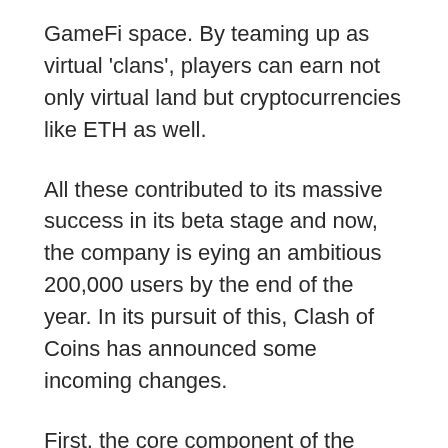GameFi space. By teaming up as virtual 'clans', players can earn not only virtual land but cryptocurrencies like ETH as well.
All these contributed to its massive success in its beta stage and now, the company is eying an ambitious 200,000 users by the end of the year. In its pursuit of this, Clash of Coins has announced some incoming changes.
First, the core component of the game will be developed even more, with mid and high-game storylines and capabilities introduced. Once these are